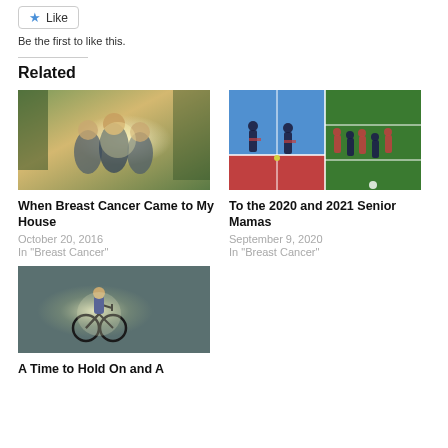[Figure (other): Like button with blue star icon]
Be the first to like this.
Related
[Figure (photo): Three teenage boys standing together outdoors with sunlight behind them]
When Breast Cancer Came to My House
October 20, 2016
In "Breast Cancer"
[Figure (photo): Two split images: tennis/baseball players on a blue court and football players on a red field]
To the 2020 and 2021 Senior Mamas
September 9, 2020
In "Breast Cancer"
[Figure (photo): Child riding a bicycle with glowing light, dark gray background]
A Time to Hold On and A